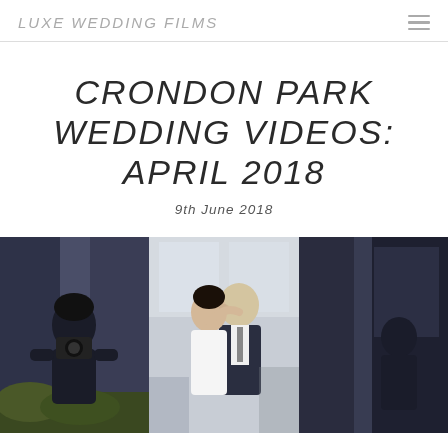LUXE WEDDING FILMS
CRONDON PARK WEDDING VIDEOS: APRIL 2018
9th June 2018
[Figure (photo): Wedding scene: left panel shows a female photographer holding a camera; center panel shows bride and groom kissing; right panel shows a dark architectural interior column/wall]